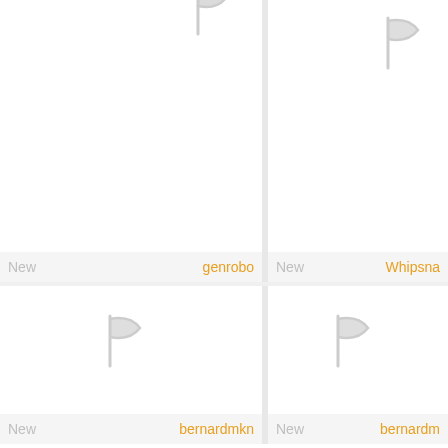[Figure (screenshot): Grid of 4 cells (2x2 layout visible, partially cropped) showing a mobile app interface with flag icons and user labels. Top-left cell: empty with flag icon cropped at top. Top-right cell: flag icon visible. Bottom-left cell: flag icon centered. Bottom-right cell: flag icon centered. Each cell has a label bar showing 'New' in gray and a username in orange.]
New    genrobo
New    Whipsna
New    bernardmkn
New    bernardm